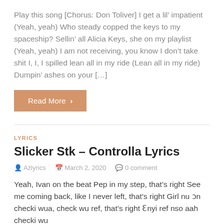Play this song [Chorus: Don Toliver] I get a lil’ impatient (Yeah, yeah) Who steady copped the keys to my spaceship? Sellin’ all Alicia Keys, she on my playlist (Yeah, yeah) I am not receiving, you know I don’t take shit I, I, I spilled lean all in my ride (Lean all in my ride) Dumpin’ ashes on your [...]
Read More >
LYRICS
Slicker Stk – Controlla Lyrics
Azlyrics   March 2, 2020   0 comment
Yeah, Ivan on the beat Pep in my step, that’s right See me coming back, like I never left, that’s right Girl nu ɔn checki wua, check wu ref, that’s right Ɛnyi ref nso aah checki wu